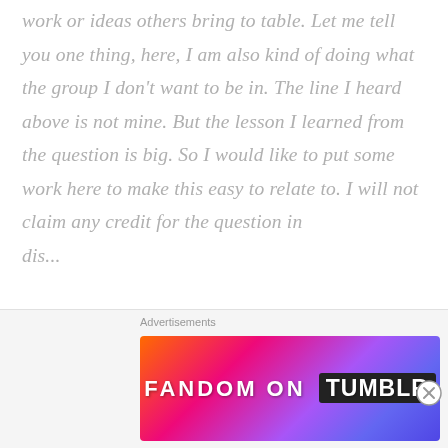work or ideas others bring to table. Let me tell you one thing, here, I am also kind of doing what the group I don't want to be in. The line I heard above is not mine. But the lesson I learned from the question is big. So I would like to put some work here to make this easy to relate to. I will not claim any credit for the question in dis...
[Figure (infographic): Advertisement banner labeled 'Advertisements' showing a colorful gradient (orange to pink to purple) banner with text 'FANDOM ON tumblr' and decorative musical/star icons. Close button (circled X) appears to the right.]